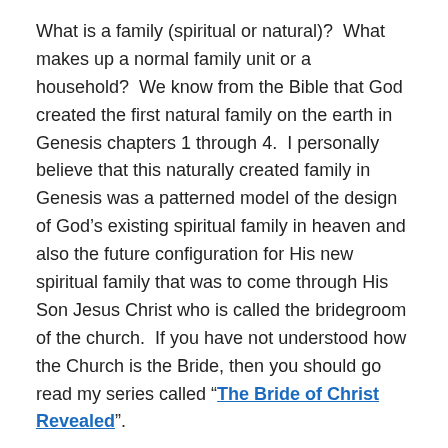What is a family (spiritual or natural)?  What makes up a normal family unit or a household?  We know from the Bible that God created the first natural family on the earth in Genesis chapters 1 through 4.  I personally believe that this naturally created family in Genesis was a patterned model of the design of God's existing spiritual family in heaven and also the future configuration for His new spiritual family that was to come through His Son Jesus Christ who is called the bridegroom of the church.  If you have not understood how the Church is the Bride, then you should go read my series called “The Bride of Christ Revealed”.
DISCOVERING THE RIDDLE OF GOD'S FAMILY
What I am going to do today is to show you some seldom taught scriptures in the Bible that reveal the family of God...